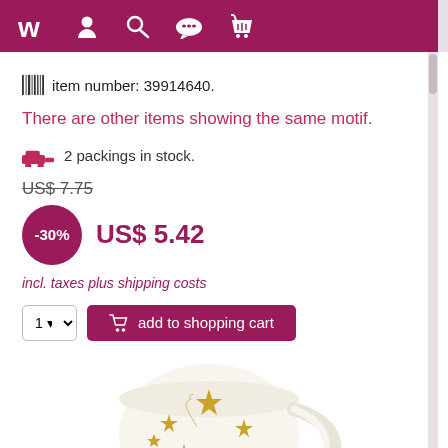Weltbild shop navigation header
item number: 39914640.
There are other items showing the same motif.
2 packings in stock.
US$ 7.75
-30% US$ 5.42
incl. taxes plus shipping costs
1  add to shopping cart
[Figure (photo): White ceramic mug with gold stars and deer antler design]